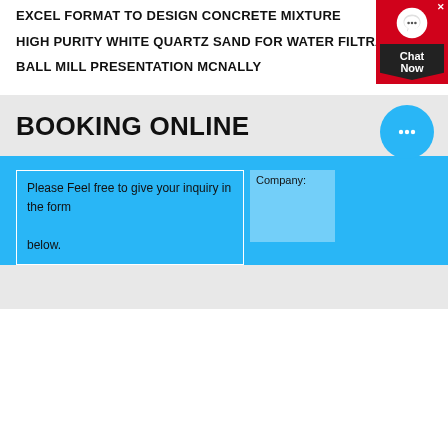EXCEL FORMAT TO DESIGN CONCRETE MIXTURE
HIGH PURITY WHITE QUARTZ SAND FOR WATER FILTRATION
BALL MILL PRESENTATION MCNALLY
[Figure (other): Live chat widget with red background, headset icon, and 'Chat Now' label in dark box]
BOOKING ONLINE
[Figure (other): Blue circular chat bubble button with ellipsis icon]
Please Feel free to give your inquiry in the form below.
Company: